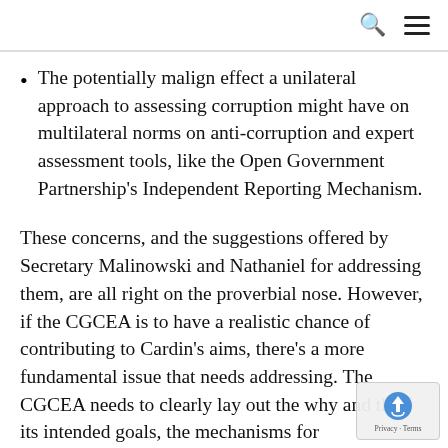[search icon] [menu icon]
The potentially malign effect a unilateral approach to assessing corruption might have on multilateral norms on anti-corruption and expert assessment tools, like the Open Government Partnership's Independent Reporting Mechanism.
These concerns, and the suggestions offered by Secretary Malinowski and Nathaniel for addressing them, are all right on the proverbial nose. However, if the CGCEA is to have a realistic chance of contributing to Cardin's aims, there's a more fundamental issue that needs addressing. The CGCEA needs to clearly lay out the why and th of its intended goals, the mechanisms for